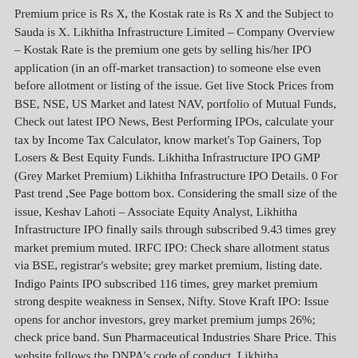Premium price is Rs X, the Kostak rate is Rs X and the Subject to Sauda is X. Likhitha Infrastructure Limited – Company Overview – Kostak Rate is the premium one gets by selling his/her IPO application (in an off-market transaction) to someone else even before allotment or listing of the issue. Get live Stock Prices from BSE, NSE, US Market and latest NAV, portfolio of Mutual Funds, Check out latest IPO News, Best Performing IPOs, calculate your tax by Income Tax Calculator, know market's Top Gainers, Top Losers & Best Equity Funds. Likhitha Infrastructure IPO GMP (Grey Market Premium) Likhitha Infrastructure IPO Details. 0 For Past trend ,See Page bottom box. Considering the small size of the issue, Keshav Lahoti – Associate Equity Analyst, Likhitha Infrastructure IPO finally sails through subscribed 9.43 times grey market premium muted. IRFC IPO: Check share allotment status via BSE, registrar's website; grey market premium, listing date. Indigo Paints IPO subscribed 116 times, grey market premium strong despite weakness in Sensex, Nifty. Stove Kraft IPO: Issue opens for anchor investors, grey market premium jumps 26%; check price band. Sun Pharmaceutical Industries Share Price. This website follows the DNPA's code of conduct. Likhitha Infrastructure IPO to hit the market on 29 September 2020 and closes on 7 October 2020. The IPO season is on with few weeks and there are 5 companies which are going public with their IPOs. 10.1)," said